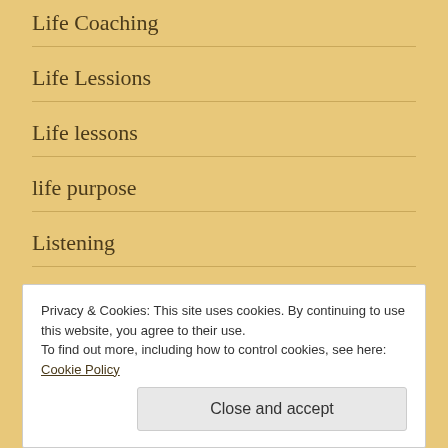Life Coaching
Life Lessions
Life lessons
life purpose
Listening
Los Angeles
Privacy & Cookies: This site uses cookies. By continuing to use this website, you agree to their use.
To find out more, including how to control cookies, see here: Cookie Policy
Love Liberation Boot camp